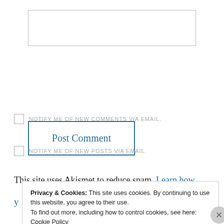[text input box]
Post Comment
NOTIFY ME OF NEW COMMENTS VIA EMAIL.
NOTIFY ME OF NEW POSTS VIA EMAIL.
This site uses Akismet to reduce spam. Learn how
Privacy & Cookies: This site uses cookies. By continuing to use this website, you agree to their use.
To find out more, including how to control cookies, see here: Cookie Policy
Close and accept